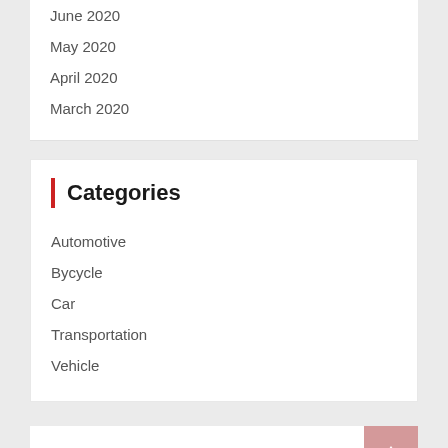June 2020
May 2020
April 2020
March 2020
Categories
Automotive
Bycycle
Car
Transportation
Vehicle
| M | T | W | T | F | S | S |
| --- | --- | --- | --- | --- | --- | --- |